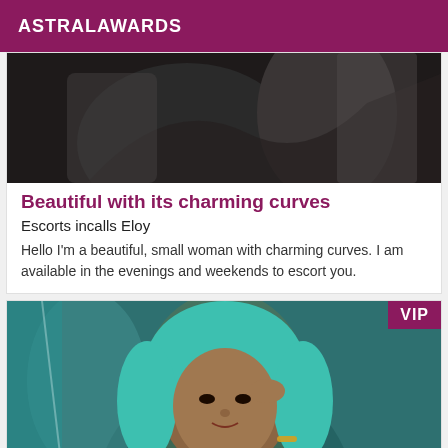ASTRALAWARDS
[Figure (photo): Dark background photo, partial view of a person in white clothing]
Beautiful with its charming curves
Escorts incalls Eloy
Hello I'm a beautiful, small woman with charming curves. I am available in the evenings and weekends to escort you.
[Figure (photo): Woman with teal/green hair against a teal background, with a VIP badge in the top right corner]